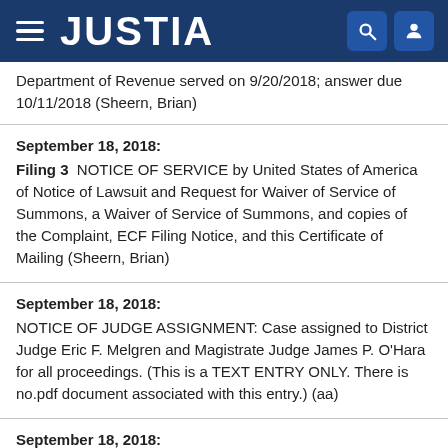JUSTIA
Department of Revenue served on 9/20/2018; answer due 10/11/2018 (Sheern, Brian)
September 18, 2018:
Filing 3  NOTICE OF SERVICE by United States of America of Notice of Lawsuit and Request for Waiver of Service of Summons, a Waiver of Service of Summons, and copies of the Complaint, ECF Filing Notice, and this Certificate of Mailing (Sheern, Brian)
September 18, 2018:
NOTICE OF JUDGE ASSIGNMENT: Case assigned to District Judge Eric F. Melgren and Magistrate Judge James P. O'Hara for all proceedings. (This is a TEXT ENTRY ONLY. There is no.pdf document associated with this entry.) (aa)
September 18, 2018: